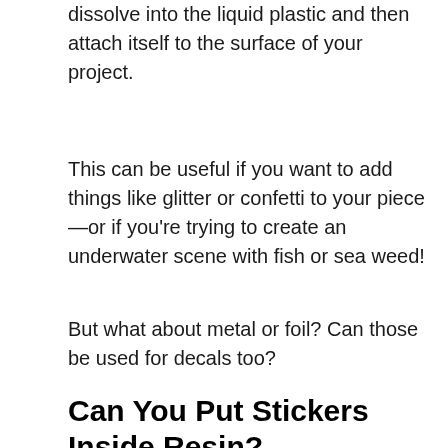dissolve into the liquid plastic and then attach itself to the surface of your project.
This can be useful if you want to add things like glitter or confetti to your piece—or if you're trying to create an underwater scene with fish or sea weed!
But what about metal or foil? Can those be used for decals too?
Can You Put Stickers Inside Resin?